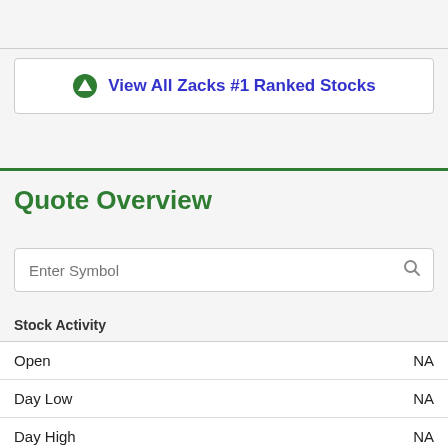View All Zacks #1 Ranked Stocks
Quote Overview
Enter Symbol
|  |  |
| --- | --- |
| Stock Activity |  |
| Open | NA |
| Day Low | NA |
| Day High | NA |
| 52 Wk Low | NA |
| 52 Wk High | NA |